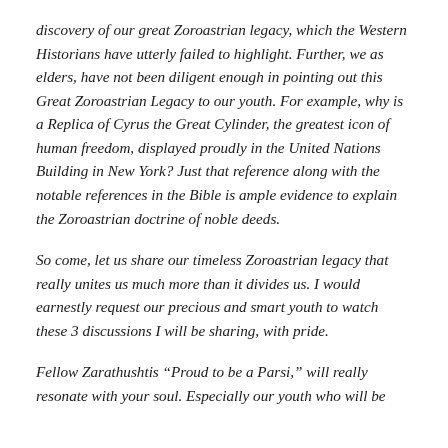discovery of our great Zoroastrian legacy, which the Western Historians have utterly failed to highlight. Further, we as elders, have not been diligent enough in pointing out this Great Zoroastrian Legacy to our youth. For example, why is a Replica of Cyrus the Great Cylinder, the greatest icon of human freedom, displayed proudly in the United Nations Building in New York? Just that reference along with the notable references in the Bible is ample evidence to explain the Zoroastrian doctrine of noble deeds.
So come, let us share our timeless Zoroastrian legacy that really unites us much more than it divides us. I would earnestly request our precious and smart youth to watch these 3 discussions I will be sharing, with pride.
Fellow Zarathushtis “Proud to be a Parsi,” will really resonate with your soul. Especially our youth who will be